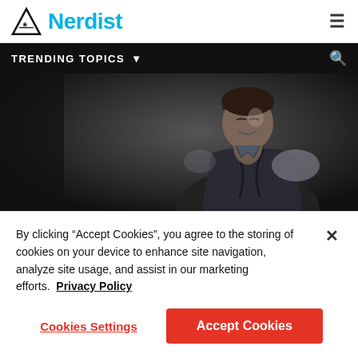Nerdist
TRENDING TOPICS
[Figure (photo): Dark moody photo of a person in a vest/waistcoat leaning over, partially lit against a dark background]
TELEVISION
First INTERVIEW WITH THE VAMPIRE TV
By clicking “Accept Cookies”, you agree to the storing of cookies on your device to enhance site navigation, analyze site usage, and assist in our marketing efforts.  Privacy Policy
Cookies Settings  Accept Cookies